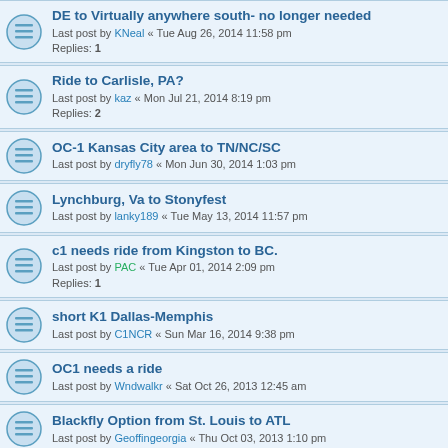DE to Virtually anywhere south- no longer needed
Last post by KNeal « Tue Aug 26, 2014 11:58 pm
Replies: 1
Ride to Carlisle, PA?
Last post by kaz « Mon Jul 21, 2014 8:19 pm
Replies: 2
OC-1 Kansas City area to TN/NC/SC
Last post by dryfly78 « Mon Jun 30, 2014 1:03 pm
Lynchburg, Va to Stonyfest
Last post by lanky189 « Tue May 13, 2014 11:57 pm
c1 needs ride from Kingston to BC.
Last post by PAC « Tue Apr 01, 2014 2:09 pm
Replies: 1
short K1 Dallas-Memphis
Last post by C1NCR « Sun Mar 16, 2014 9:38 pm
OC1 needs a ride
Last post by Wndwalkr « Sat Oct 26, 2013 12:45 am
Blackfly Option from St. Louis to ATL
Last post by Geoffingeorgia « Thu Oct 03, 2013 1:10 pm
Sherburne, NY to Roanoke Rapids, NC
Last post by Mike W. « Wed Aug 28, 2013 11:12 pm
Replies: 2
From Oneida, TN to Blacksburg, VA or somewhere inbetween
Last post by yth20mama « Sat Jul 20, 2013 5:03 pm